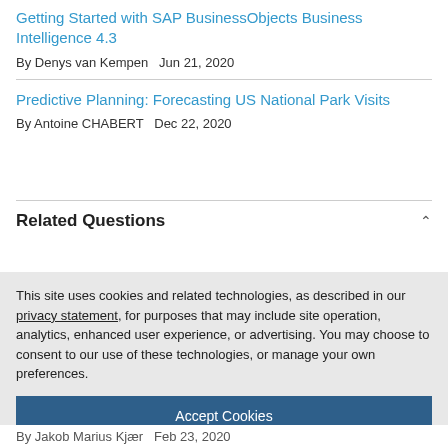Getting Started with SAP BusinessObjects Business Intelligence 4.3
By Denys van Kempen   Jun 21, 2020
Predictive Planning: Forecasting US National Park Visits
By Antoine CHABERT   Dec 22, 2020
Related Questions
This site uses cookies and related technologies, as described in our privacy statement, for purposes that may include site operation, analytics, enhanced user experience, or advertising. You may choose to consent to our use of these technologies, or manage your own preferences.
Accept Cookies
More Information
Privacy Policy | Powered by:  TrustArc
By Jakob Marius Kjær   Feb 23, 2020